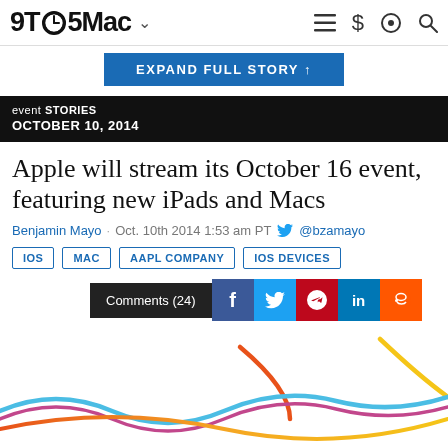9TO5Mac
[Figure (screenshot): EXPAND FULL STORY button in blue]
event STORIES
OCTOBER 10, 2014
Apple will stream its October 16 event, featuring new iPads and Macs
Benjamin Mayo · Oct. 10th 2014 1:53 am PT @bzamayo
IOS
MAC
AAPL COMPANY
IOS DEVICES
[Figure (screenshot): Comments (24) button and social sharing icons: Facebook, Twitter, Pinterest, LinkedIn, Reddit]
[Figure (illustration): Apple event colorful swoosh lines — blue, purple/pink, orange, yellow — it's been way too long]
It's been way too long